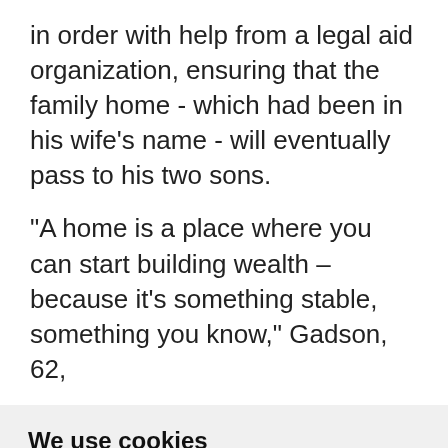in order with help from a legal aid organization, ensuring that the family home - which had been in his wife's name - will eventually pass to his two sons.
"A home is a place where you can start building wealth – because it's something stable, something you know," Gadson, 62,
We use cookies
We use cookies and other tracking technologies to improve your browsing experience on our website, to show you personalized content and targeted ads, to analyze our website traffic, and to understand where our visitors are coming from.